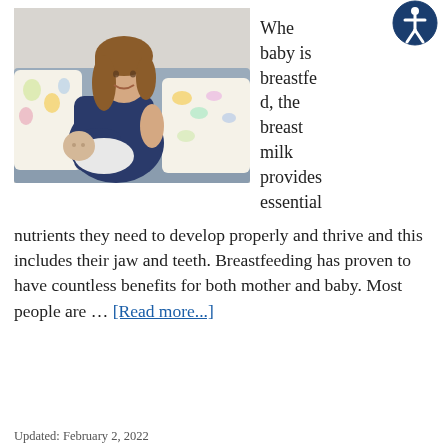[Figure (photo): A woman sitting on a sofa with floral pillows breastfeeding a newborn baby wrapped in white cloth.]
When a baby is breastfed, the breast milk provides essential nutrients they need to develop properly and thrive and this includes their jaw and teeth. Breastfeeding has proven to have countless benefits for both mother and baby. Most people are … [Read more...]
Updated: February 2, 2022